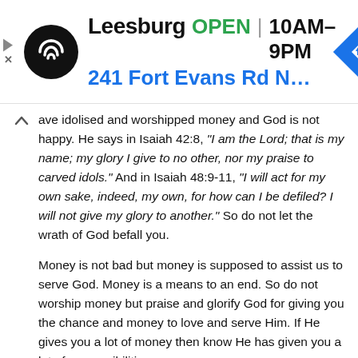[Figure (screenshot): Advertisement banner for Leesburg store showing logo, OPEN status, hours 10AM-9PM, and address 241 Fort Evans Rd NE, Leesburg]
ave idolised and worshipped money and God is not happy. He says in Isaiah 42:8, "I am the Lord; that is my name; my glory I give to no other, nor my praise to carved idols." And in Isaiah 48:9-11, "I will act for my own sake, indeed, my own, for how can I be defiled? I will not give my glory to another." So do not let the wrath of God befall you.
Money is not bad but money is supposed to assist us to serve God. Money is a means to an end. So do not worship money but praise and glorify God for giving you the chance and money to love and serve Him. If He gives you a lot of money then know He has given you a lot of responsibilities.
Finally, the Bible Verse in Isaiah 6:3 says, “Holy, Holy, Holy is the Lord of hosts; the whole earth is full of his glory!” Each one of us should, therefore, know why God created us and that is